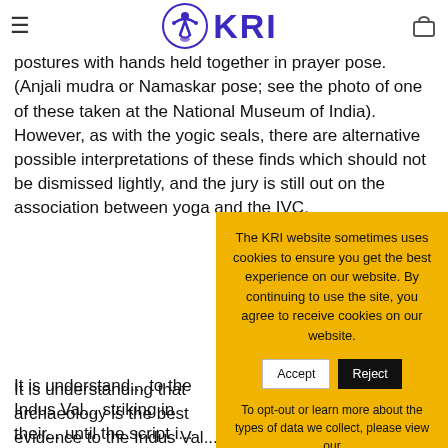KRI (Kundalini Research Institute) website navigation bar with logo
both material and spiritual well-being. There are a number of clay figures discovered which are in seated postures with hands held together in prayer pose. (Anjali mudra or Namaskar pose; see the photo of one of these taken at the National Museum of India). However, as with the yogic seals, there are alternative possible interpretations of these finds which should not be dismissed lightly, and the jury is still out on the association between yoga and the IVC.
It is understood that archaeology is the best evidence to the Indus Valley Civilization, and similarities striking in their appearance and purpose will be uncertain until the script is deciphered and more archaeological evidence becomes available that can be considered as definitive. On the basis of the current evidence, whether yoga is thousands of years old or millions of years old? Clear...
[Figure (screenshot): Cookie consent modal popup with yellow background. Text reads: 'The KRI website sometimes uses cookies to ensure you get the best experience on our website. By continuing to use the site, you agree to receive cookies on our website.' Two buttons: 'Accept' (white) and 'Reject' (black). Below: 'To opt-out or learn more about the types of data we collect, please view our' followed by 'Privacy Policy' button in orange.]